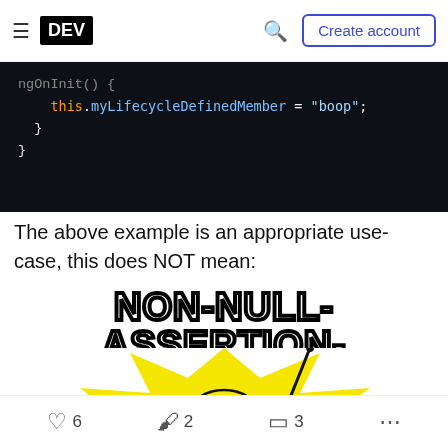DEV | Create account
[Figure (screenshot): Code block on dark background showing: ngOnInit() { this.myLifecycleDefinedMember = "boop"; } }]
The above example is an appropriate use-case, this does NOT mean:
[Figure (illustration): Meme image with large bold text NON-NULL-ASSERTION-OPERATOR in Impact/Arial Black font with black stroke on white, above a cartoon character (Homer Simpson style) with yellow explosion background, shocked expression]
6  2  3  ...